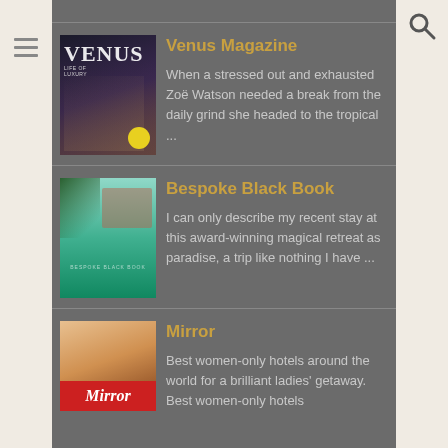[Figure (screenshot): Hamburger menu icon on left sidebar]
[Figure (screenshot): Search icon on top right]
[Figure (photo): Venus Magazine cover showing a woman]
Venus Magazine
When a stressed out and exhausted Zoë Watson needed a break from the daily grind she headed to the tropical ...
[Figure (photo): Bespoke Black Book cover showing a tropical pool and villa]
Bespoke Black Book
I can only describe my recent stay at this award-winning magical retreat as paradise, a trip like nothing I have ...
[Figure (photo): Mirror newspaper cover showing women with sunglasses]
Mirror
Best women-only hotels around the world for a brilliant ladies' getaway. Best women-only hotels